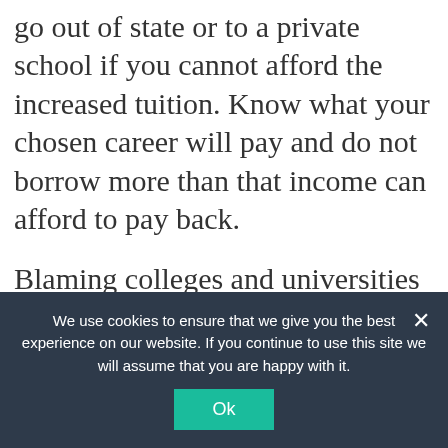Dreams do not make loan payments. Don't go out of state or to a private school if you cannot afford the increased tuition. Know what your chosen career will pay and do not borrow more than that income can afford to pay back.
Blaming colleges and universities (or the government) for the high cost of a college education is no different than blaming banks for high NSF fees.
Reply
We use cookies to ensure that we give you the best experience on our website. If you continue to use this site we will assume that you are happy with it.
Ok